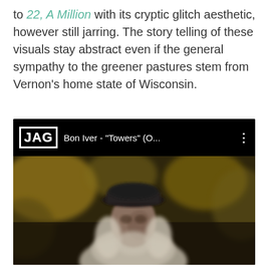to 22, A Million with its cryptic glitch aesthetic, however still jarring. The story telling of these visuals stay abstract even if the general sympathy to the greener pastures stem from Vernon's home state of Wisconsin.
[Figure (screenshot): Embedded YouTube-style video player showing a thumbnail with a logo 'JAG' and title 'Bon Iver - "Towers" (O...' with a three-dot menu icon. The thumbnail shows a blurry outdoor scene with an elderly man with long white hair and a dark cap.]